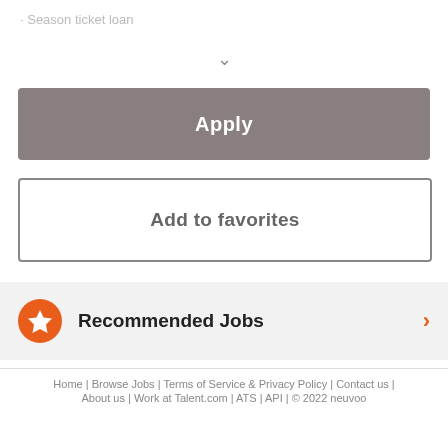· Season ticket loan
✓
Apply
Add to favorites
Recommended Jobs
Home | Browse Jobs | Terms of Service & Privacy Policy | Contact us | About us | Work at Talent.com | ATS | API | © 2022 neuvoo